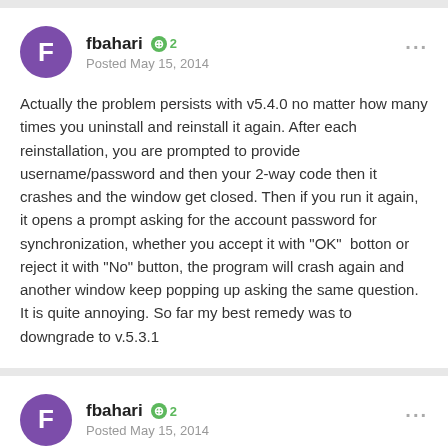fbahari  +2
Posted May 15, 2014
Actually the problem persists with v5.4.0 no matter how many times you uninstall and reinstall it again. After each reinstallation, you are prompted to provide username/password and then your 2-way code then it crashes and the window get closed. Then if you run it again, it opens a prompt asking for the account password for synchronization, whether you accept it with "OK"  botton or reject it with "No" button, the program will crash again and another window keep popping up asking the same question. It is quite annoying. So far my best remedy was to downgrade to v.5.3.1
fbahari  +2
Posted May 15, 2014
By the way, the event steps suggested by support group will not work as the...